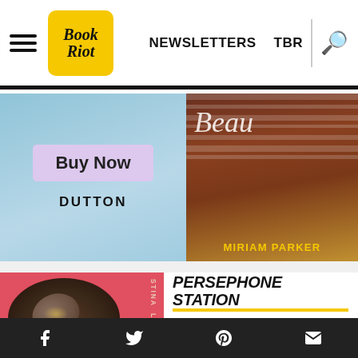Book Riot — NEWSLETTERS  TBR
[Figure (photo): Advertisement banner: Buy Now button, Dutton publisher label on blue background with book cover image, Miriam Parker author name in gold on wood-toned background]
[Figure (photo): Book cover for Persephone Station by Stina Leicht — coral/red background with illustrated woman looking up, vertical text 'STINA LEICHT' on right side]
PERSEPHONE STATION
BY STINA LEICHT (JANUARY 5, SAGA PRESS)
You love a fresh start, Aries. January represents a time for
Social sharing: Facebook, Twitter, Pinterest, Email